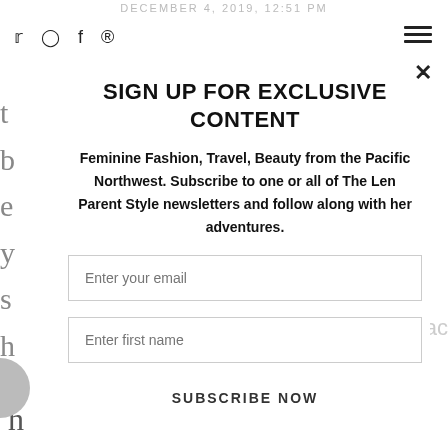DECEMBER 4, 2019, 12:51 PM
Social icons: Twitter, Instagram, Facebook, Pinterest
SIGN UP FOR EXCLUSIVE CONTENT
Feminine Fashion, Travel, Beauty from the Pacific Northwest. Subscribe to one or all of The Len Parent Style newsletters and follow along with her adventures.
Enter your email
Enter first name
SUBSCRIBE NOW